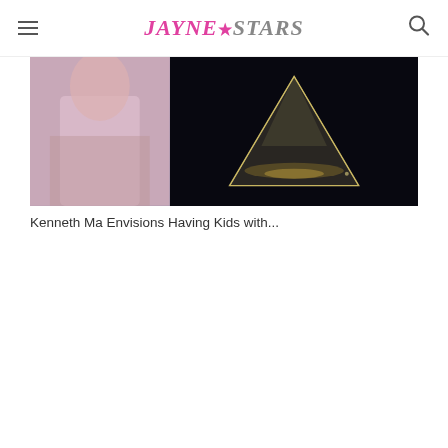JAYNE★STARS
[Figure (photo): Composite image showing a person on the left and a glowing pyramid/crystal shape on a dark background on the right]
Kenneth Ma Envisions Having Kids with...